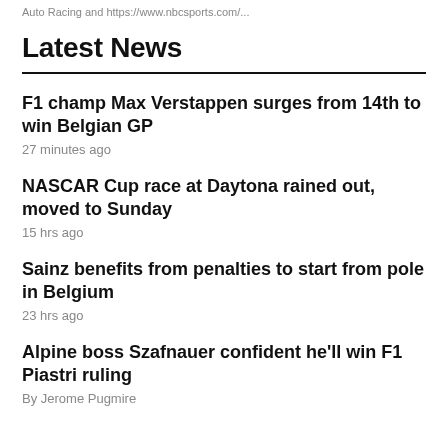Auto Racing and https://www.nbcsports.com/...
Latest News
F1 champ Max Verstappen surges from 14th to win Belgian GP
27 minutes ago
NASCAR Cup race at Daytona rained out, moved to Sunday
15 hrs ago
Sainz benefits from penalties to start from pole in Belgium
23 hrs ago
Alpine boss Szafnauer confident he'll win F1 Piastri ruling
By Jerome Pugmire